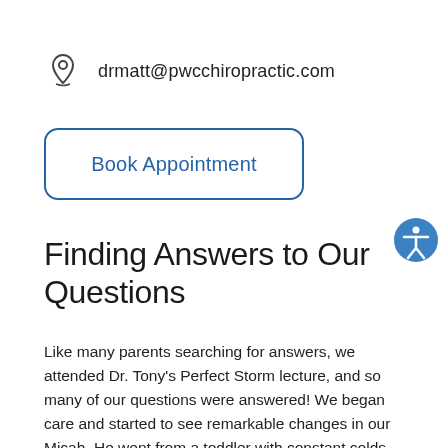drmatt@pwcchiropractic.com
Book Appointment
Finding Answers to Our Questions
Like many parents searching for answers, we attended Dr. Tony's Perfect Storm lecture, and so many of our questions were answered! We began care and started to see remarkable changes in our Micah. He went from a toddler with constant colds and ear